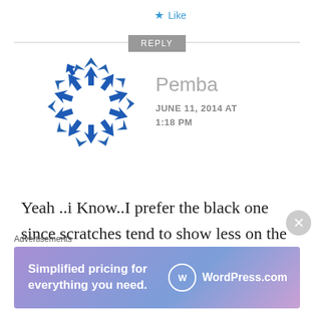★ Like
REPLY
[Figure (illustration): Blue circular arrow icon made of arrow chevrons arranged in a circle]
Pemba
JUNE 11, 2014 AT 1:18 PM
Yeah ..i Know..I prefer the black one since scratches tend to show less on the black and the white ones usually get dirty very easily...i am eagerly
Advertisements
[Figure (screenshot): WordPress.com advertisement banner: Simplified pricing for everything you need. WordPress.com logo on gradient purple/blue background.]